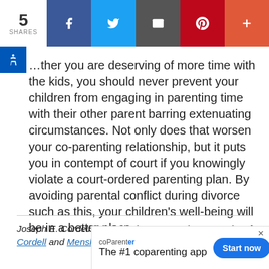5 SHARES | Facebook | Twitter | Email | Pinterest | More
…ther you are deserving of more time with the kids, you should never prevent your children from engaging in parenting time with their other parent barring extenuating circumstances. Not only does that worsen your co-parenting relationship, but it puts you in contempt of court if you knowingly violate a court-ordered parenting plan. By avoiding parental conflict during divorce such as this, your children's well-being will be in a better place.
Joseph E. Cordell is Principal Partner and Co-Founder of Cordell & Cordell and Men's...